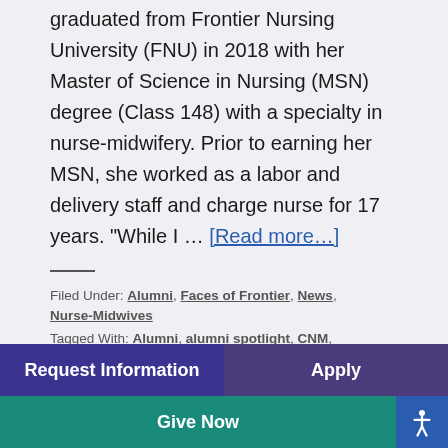graduated from Frontier Nursing University (FNU) in 2018 with her Master of Science in Nursing (MSN) degree (Class 148) with a specialty in nurse-midwifery. Prior to earning her MSN, she worked as a labor and delivery staff and charge nurse for 17 years. "While I ... [Read more...]
Filed Under: Alumni, Faces of Frontier, News, Nurse-Midwives
Tagged With: Alumni, alumni spotlight, CNM, ...
Request Information | Apply | Give Now